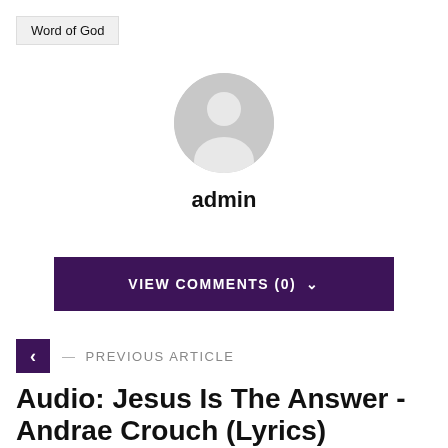Word of God
[Figure (illustration): Generic grey user avatar icon (silhouette of a person in a circle)]
admin
VIEW COMMENTS (0)
— PREVIOUS ARTICLE
Audio: Jesus Is The Answer - Andrae Crouch (Lyrics)